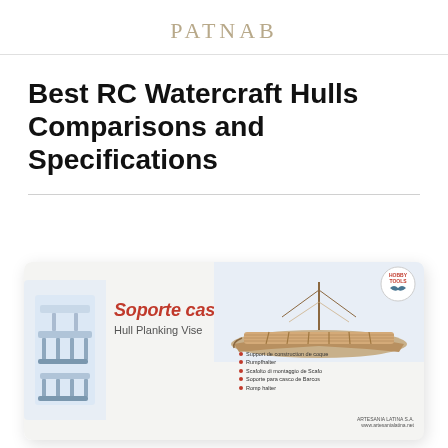PATNAB
Best RC Watercraft Hulls Comparisons and Specifications
[Figure (photo): Product photo of a 'Soporte casco / Hull Planking Vise' box by Artesania Latina, showing the white box with a wooden model boat on the packaging and a hull planking vise accessory. The box has red and black text and bullet points in multiple languages. A 'Hobby Tools' badge is in the upper right corner.]